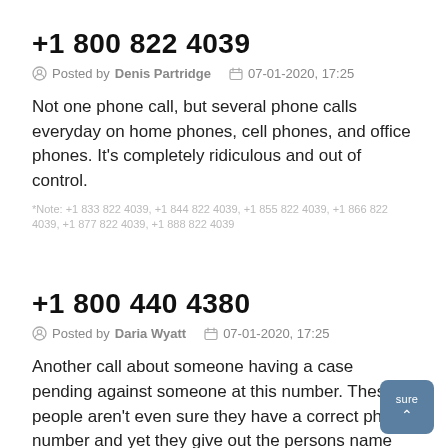+1 800 822 4039
Posted by Denis Partridge   07-01-2020, 17:25
Not one phone call, but several phone calls everyday on home phones, cell phones, and office phones. It's completely ridiculous and out of control.
*Note: +1 833 822 4039, +1 844 822 4039, +1 855 822 4039, +1 866 822 4039, +1 877 822 4039, +1 888 822 4039
+1 800 440 4380
Posted by Daria Wyatt   07-01-2020, 17:25
Another call about someone having a case pending against someone at this number. These people aren't even sure they have a correct phone number and yet they give out the persons name they are looking for. That seems to be an invasion of privacy.